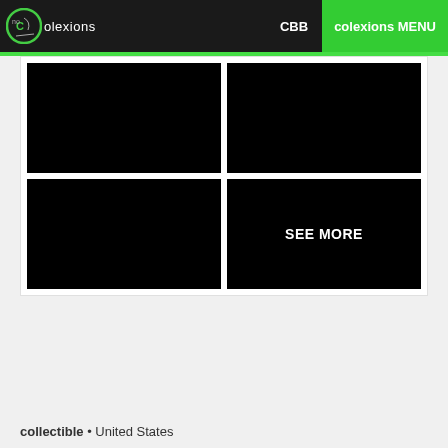Colexions | CBB | colexions MENU
[Figure (screenshot): Four black image placeholders in a 2x2 grid; bottom-right contains white text 'SEE MORE']
collectible • United States